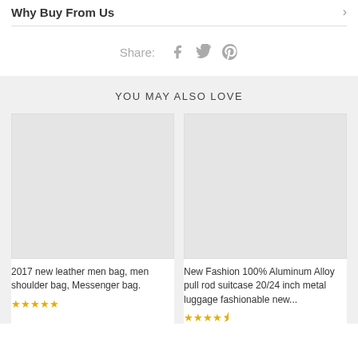Why Buy From Us
Share:
[Figure (illustration): Social share icons: Facebook, Twitter, Pinterest]
YOU MAY ALSO LOVE
[Figure (photo): Product image placeholder (grey box) for 2017 new leather men bag]
2017 new leather men bag, men shoulder bag, Messenger bag.
[Figure (illustration): 5 star rating (full stars)]
[Figure (photo): Product image placeholder (grey box) for New Fashion 100% Aluminum Alloy pull rod suitcase]
New Fashion 100% Aluminum Alloy pull rod suitcase 20/24 inch metal luggage fashionable new...
[Figure (illustration): 4.5 star rating]